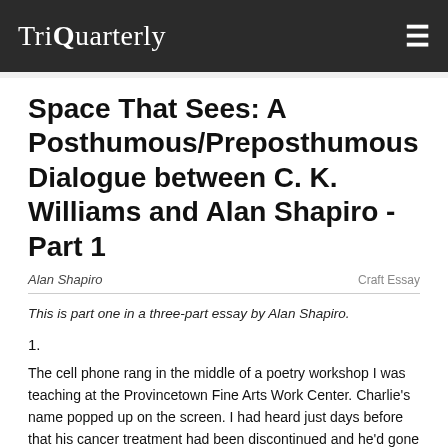TriQuarterly
Space That Sees: A Posthumous/Preposthumous Dialogue between C. K. Williams and Alan Shapiro - Part 1
Alan Shapiro
Craft Essay
This is part one in a three-part essay by Alan Shapiro.
1.
The cell phone rang in the middle of a poetry workshop I was teaching at the Provincetown Fine Arts Work Center. Charlie's name popped up on the screen. I had heard just days before that his cancer treatment had been discontinued and he'd gone into hospice. I excused myself and went outside to take the call.